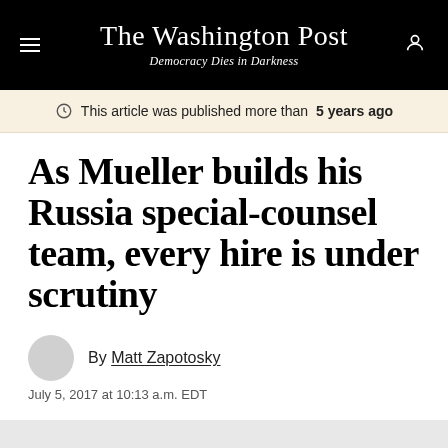The Washington Post — Democracy Dies in Darkness
This article was published more than 5 years ago
As Mueller builds his Russia special-counsel team, every hire is under scrutiny
By Matt Zapotosky
July 5, 2017 at 10:13 a.m. EDT
Gift  Share